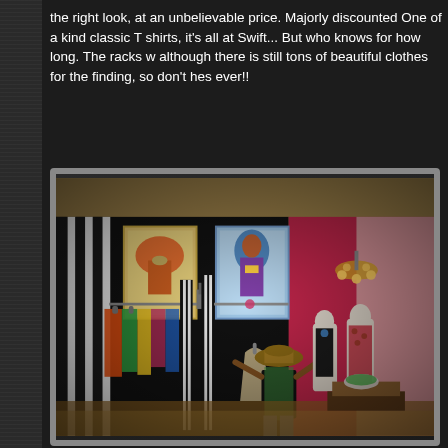the right look, at an unbelievable price. Majorly discounted One of a kind classic T shirts, it's all at Swift... But who knows for how long. The racks w although there is still tons of beautiful clothes for the finding, so don't hes ever!!
[Figure (photo): Interior of a vintage clothing boutique called Swift. Shows clothing racks with colorful garments, black and white striped curtains, decorative art prints on a black wall, a chandelier in a pink-walled back room, mannequins, and a person browsing through hanging clothes.]